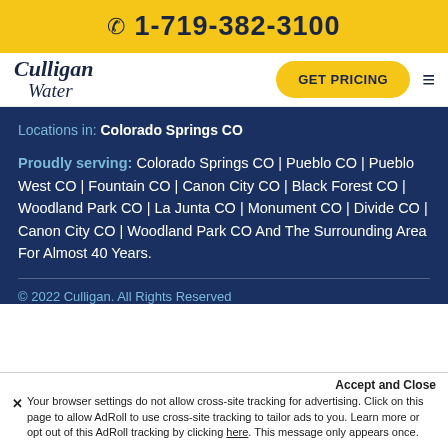📞 1-719-382-3100
[Figure (logo): Culligan Water logo with GET PRICING button and hamburger menu]
Locations in: Colorado Springs CO
Proudly serving: Colorado Springs CO | Pueblo CO | Pueblo West CO | Fountain CO | Canon City CO | Black Forest CO | Woodland Park CO | La Junta CO | Monument CO | Divide CO | Canon City CO | Woodland Park CO And The Surrounding Area For Almost 40 Years.
© 2022 Culligan. All Rights Reserved
Accept and Close
✕ Your browser settings do not allow cross-site tracking for advertising. Click on this page to allow AdRoll to use cross-site tracking to tailor ads to you. Learn more or opt out of this AdRoll tracking by clicking here. This message only appears once.